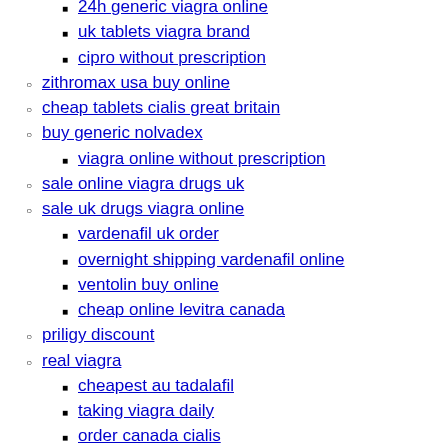24h generic viagra online
uk tablets viagra brand
cipro without prescription
zithromax usa buy online
cheap tablets cialis great britain
buy generic nolvadex
viagra online without prescription
sale online viagra drugs uk
sale uk drugs viagra online
vardenafil uk order
overnight shipping vardenafil online
ventolin buy online
cheap online levitra canada
priligy discount
real viagra
cheapest au tadalafil
taking viagra daily
order canada cialis
zithromax prescription
viagra soft canada online
before and after viagra pics
order flagyl online price
buy amoxil online
sildenafil price online
price no prescription levitra